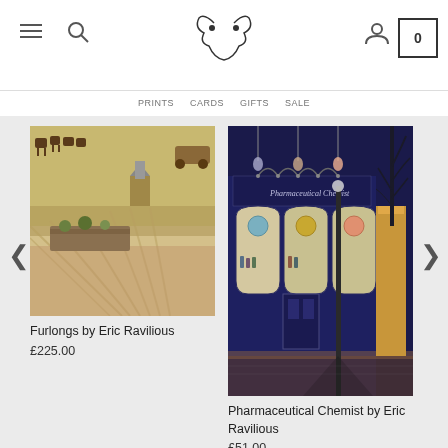Navigation header with menu, search, logo, user icon, and cart (0)
[Figure (illustration): Furlongs by Eric Ravilious - a countryside scene with horses, fields in golden light, and a church in the background]
Furlongs by Eric Ravilious
£225.00
[Figure (illustration): Pharmaceutical Chemist by Eric Ravilious - a night scene of a pharmacy shop front with ornate lamp posts, arched windows, coloured glass orbs, and a bare tree against a dark blue sky]
Pharmaceutical Chemist by Eric Ravilious
£51.00